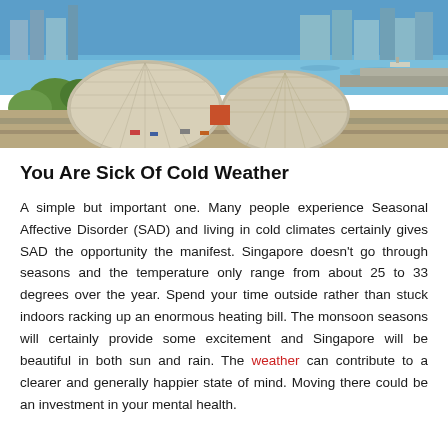[Figure (photo): Aerial photograph of Singapore's Esplanade – Theatres on the Bay, showing the distinctive dome-shaped structures with latticed shells, surrounded by greenery, roads, and Marina Bay waterfront in the background.]
You Are Sick Of Cold Weather
A simple but important one. Many people experience Seasonal Affective Disorder (SAD) and living in cold climates certainly gives SAD the opportunity the manifest. Singapore doesn't go through seasons and the temperature only range from about 25 to 33 degrees over the year. Spend your time outside rather than stuck indoors racking up an enormous heating bill. The monsoon seasons will certainly provide some excitement and Singapore will be beautiful in both sun and rain. The weather can contribute to a clearer and generally happier state of mind. Moving there could be an investment in your mental health.